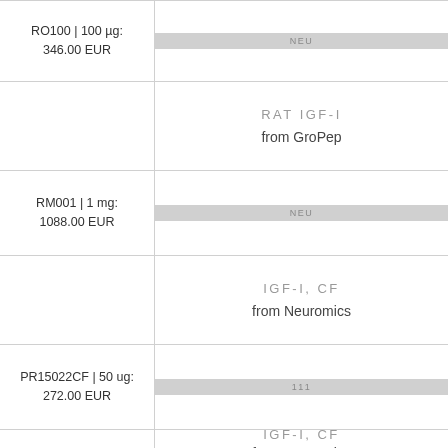| Product Code / Price | Product Info / Status |
| --- | --- |
| RO100 | 100 µg: 346.00 EUR | NEU |
| RAT IGF-I
from GroPep |  |
| RM001 | 1 mg: 1088.00 EUR | NEU |
| IGF-I, CF
from Neuromics |  |
| PR15022CF | 50 ug: 272.00 EUR | 111 |
| IGF-I, CF
from Neuromics |  |